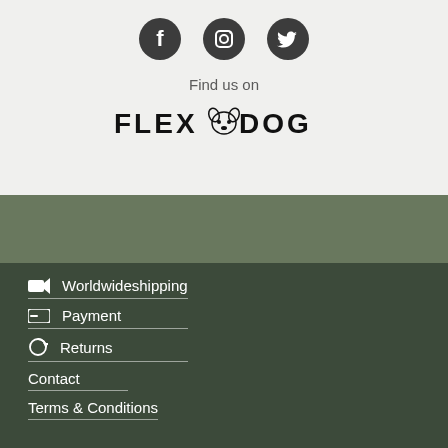[Figure (logo): Social media icons: Facebook, Instagram, Twitter (dark circle buttons)]
Find us on
[Figure (logo): FLEXDOG logo with dog paw/face graphic between FLEX and DOG]
Worldwide shipping
Payment
Returns
Contact
Terms & Conditions